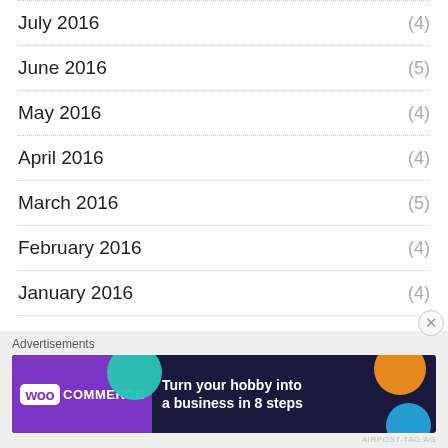July 2016 (4)
June 2016 (5)
May 2016 (4)
April 2016 (4)
March 2016 (5)
February 2016 (4)
January 2016 (4)
December 2015 (4)
November 2015 (4)
[Figure (other): WooCommerce advertisement banner: 'Turn your hobby into a business in 8 steps']
Advertisements